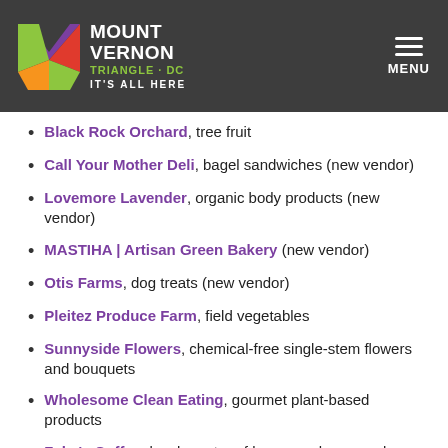Mount Vernon Triangle · DC — IT'S ALL HERE
Black Rock Orchard, tree fruit
Call Your Mother Deli, bagel sandwiches (new vendor)
Lovemore Lavender, organic body products (new vendor)
MASTIHA | Artisan Green Bakery (new vendor)
Otis Farms, dog treats (new vendor)
Pleitez Produce Farm, field vegetables
Sunnyside Flowers, chemical-free single-stem flowers and bouquets
Wholesome Clean Eating, gourmet plant-based products
Zeke's Coffee, local roaster of beans and prepared brews
A special thanks to our 2019 FRESHFARM MVT Market financial sponsors whose continued support allows us to return this